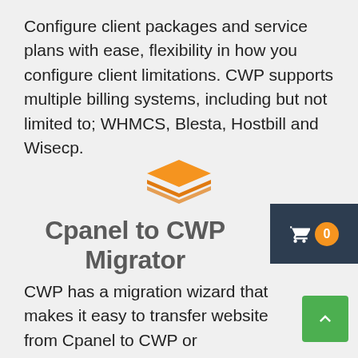Configure client packages and service plans with ease, flexibility in how you configure client limitations. CWP supports multiple billing systems, including but not limited to; WHMCS, Blesta, Hostbill and Wisecp.
[Figure (logo): Orange layered stack/pages icon (CWP logo)]
Cpanel to CWP Migrator
CWP has a migration wizard that makes it easy to transfer website from Cpanel to CWP or transferring website to another CWP server. This a nice function for administrators.